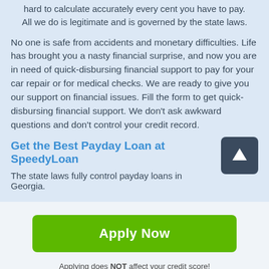hard to calculate accurately every cent you have to pay. All we do is legitimate and is governed by the state laws.
No one is safe from accidents and monetary difficulties. Life has brought you a nasty financial surprise, and now you are in need of quick-disbursing financial support to pay for your car repair or for medical checks. We are ready to give you our support on financial issues. Fill the form to get quick-disbursing financial support. We don't ask awkward questions and don't control your credit record.
Get the Best Payday Loan at SpeedyLoan
The state laws fully control payday loans in Georgia.
Apply Now
Applying does NOT affect your credit score!
No credit check to apply.